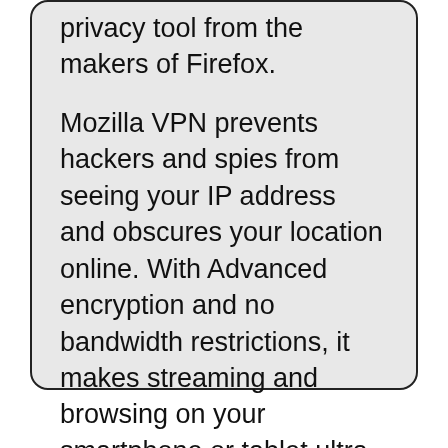privacy tool from the makers of Firefox.
Mozilla VPN prevents hackers and spies from seeing your IP address and obscures your location online. With Advanced encryption and no bandwidth restrictions, it makes streaming and browsing on your smartphone or tablet ultra-fast and reliably secure. For a small monthly fee, you can protect up to 5 devices and connect to dozens of servers worldwide.